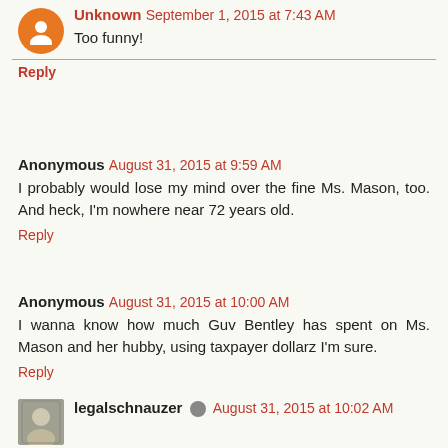Unknown September 1, 2015 at 7:43 AM
Too funny!
Reply
Anonymous August 31, 2015 at 9:59 AM
I probably would lose my mind over the fine Ms. Mason, too. And heck, I'm nowhere near 72 years old.
Reply
Anonymous August 31, 2015 at 10:00 AM
I wanna know how much Guv Bentley has spent on Ms. Mason and her hubby, using taxpayer dollarz I'm sure.
Reply
legalschnauzer August 31, 2015 at 10:02 AM